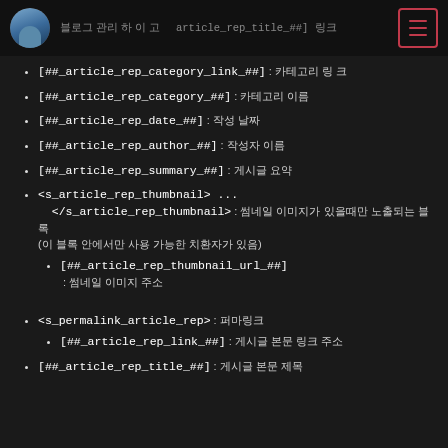[##_article_rep_title_##]
[##_article_rep_category_link_##] : 카테고리 링크
[##_article_rep_category_##] : 카테고리 이름
[##_article_rep_date_##] : 작성 날짜
[##_article_rep_author_##] : 작성자 이름
[##_article_rep_summary_##] : 게시글 요약
<s_article_rep_thumbnail> ... </s_article_rep_thumbnail> : 썸네일 이미지가 있을때만 노출되는 블록 (이 블록 안에서만 사용 가능한 치환자가 있음)
[##_article_rep_thumbnail_url_##] : 썸네일 이미지 주소
<s_permalink_article_rep> : 퍼마링크
[##_article_rep_link_##] : 게시글 본문 링크 주소
[##_article_rep_title_##] : 게시글 본문 제목